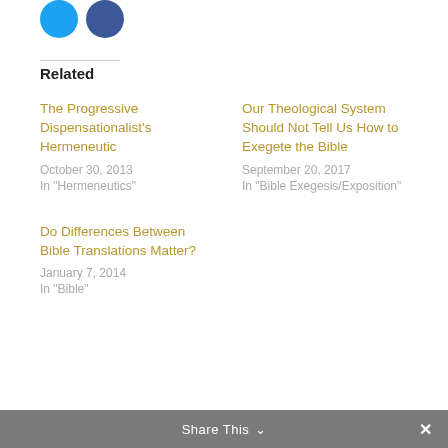[Figure (illustration): Two overlapping social media icon circles (Twitter blue and Facebook blue) at top left]
Related
The Progressive Dispensationalist's Hermeneutic
October 30, 2013
In "Hermeneutics"
Our Theological System Should Not Tell Us How to Exegete the Bible
September 20, 2017
In "Bible Exegesis/Exposition"
Do Differences Between Bible Translations Matter?
January 7, 2014
In "Bible"
Share This ∨  ✕